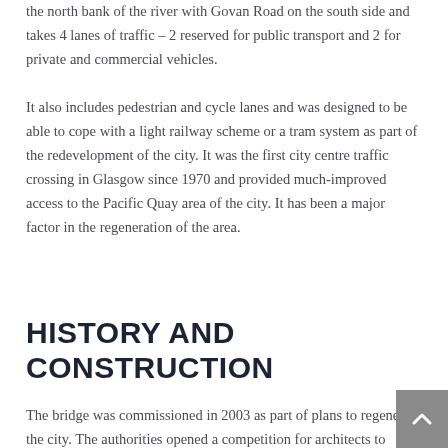the north bank of the river with Govan Road on the south side and takes 4 lanes of traffic – 2 reserved for public transport and 2 for private and commercial vehicles.
It also includes pedestrian and cycle lanes and was designed to be able to cope with a light railway scheme or a tram system as part of the redevelopment of the city. It was the first city centre traffic crossing in Glasgow since 1970 and provided much-improved access to the Pacific Quay area of the city. It has been a major factor in the regeneration of the area.
HISTORY AND CONSTRUCTION
The bridge was commissioned in 2003 as part of plans to regenerate the city. The authorities opened a competition for architects to submit plans and the winning design